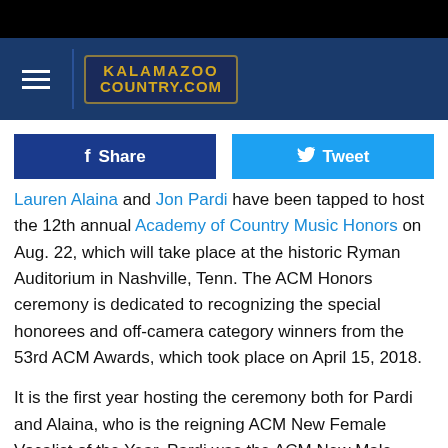KALAMAZOO COUNTRY.COM
[Figure (logo): Kalamazoo Country.com logo in gold text on dark blue background with gold border]
Share | Tweet
Lauren Alaina and Jon Pardi have been tapped to host the 12th annual Academy of Country Music Honors on Aug. 22, which will take place at the historic Ryman Auditorium in Nashville, Tenn. The ACM Honors ceremony is dedicated to recognizing the special honorees and off-camera category winners from the 53rd ACM Awards, which took place on April 15, 2018.
It is the first year hosting the ceremony both for Pardi and Alaina, who is the reigning ACM New Female Vocalist of the Year. Pardi was the ACM New Male Vocalist of the Year in